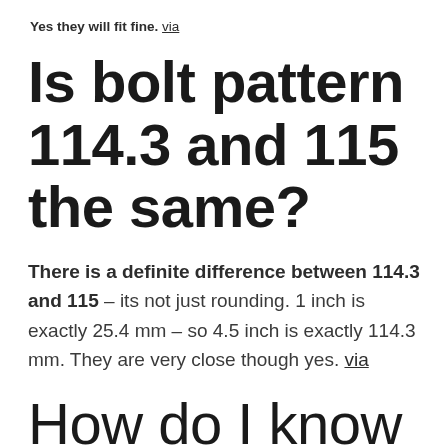Yes they will fit fine. via
Is bolt pattern 114.3 and 115 the same?
There is a definite difference between 114.3 and 115 – its not just rounding. 1 inch is exactly 25.4 mm – so 4.5 inch is exactly 114.3 mm. They are very close though yes. via
How do I know if my rims are